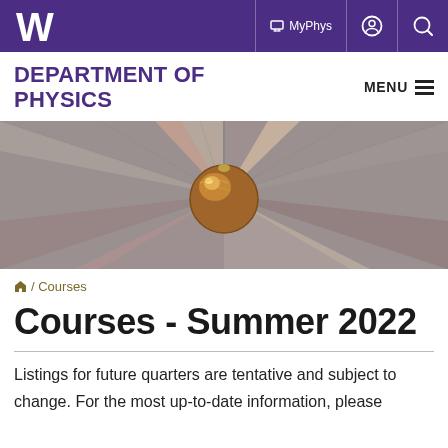W | MyPhys [account icon] [search icon]
DEPARTMENT OF PHYSICS
[Figure (photo): Overhead view of a bronze/copper pendulum ball hanging from a ceiling with colorful mosaic tile pattern radiating outward in a starburst design]
🏠 / Courses
Courses - Summer 2022
Listings for future quarters are tentative and subject to change. For the most up-to-date information, please